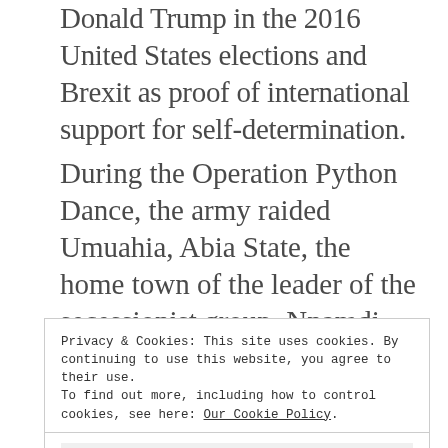Donald Trump in the 2016 United States elections and Brexit as proof of international support for self-determination.
During the Operation Python Dance, the army raided Umuahia, Abia State, the home town of the leader of the secessionist group, Nnamdi Kanu, whose whereabouts have been unknown since then.
Privacy & Cookies: This site uses cookies. By continuing to use this website, you agree to their use.
To find out more, including how to control cookies, see here: Our Cookie Policy
Close and accept
Ultimately, the Federal Government